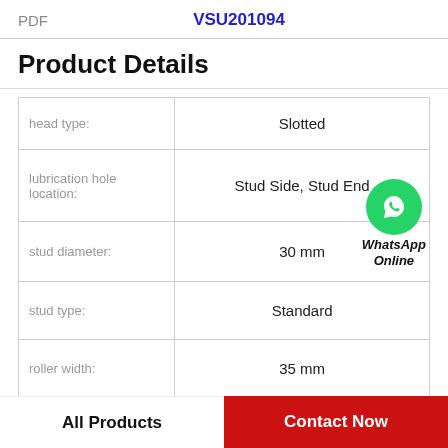PDF   VSU201094
Product Details
|  |  |
| --- | --- |
| head type: | Slotted |
| lubrication hole location: | Stud Side, Stud End |
| stud diameter: | 30 mm |
| stud type: | Standard |
| roller width: | 35 mm |
| roller shape: | Crowned |
All Products   Contact Now